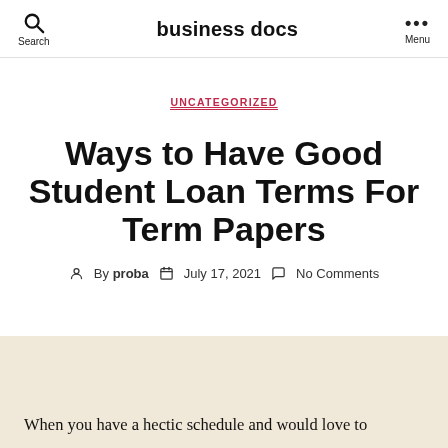business docs
UNCATEGORIZED
Ways to Have Good Student Loan Terms For Term Papers
By proba  July 17, 2021  No Comments
When you have a hectic schedule and would love to